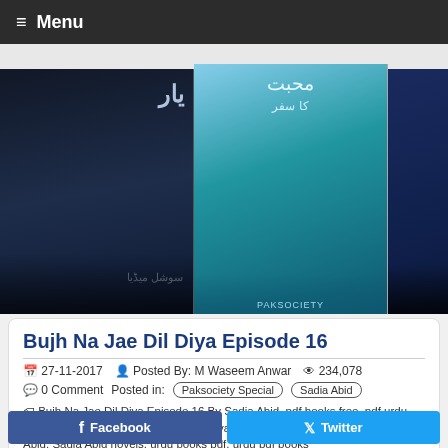≡ Menu
[Figure (photo): Three Urdu book covers displayed side by side: a dark cover with Urdu script, a blue ocean-themed cover, and a dark navy cover with Urdu text]
Bujh Na Jae Dil Diya Episode 16
27-11-2017  Posted By: M Waseem Anwar  234,078
0 Comment  Posted in: Paksociety Special  Sadia Abid
Bujh Na Jae Dil Diya Episode 16 By Sadia Abid, pdf books free, pdf urdu books, Read online Bujh Na Jae Dil Diya Episode 16 By Sadia Abid, Sadia Abid, Sadia Abid novels, urdu books pdf, urdu pdf books
Facebook  Twitter